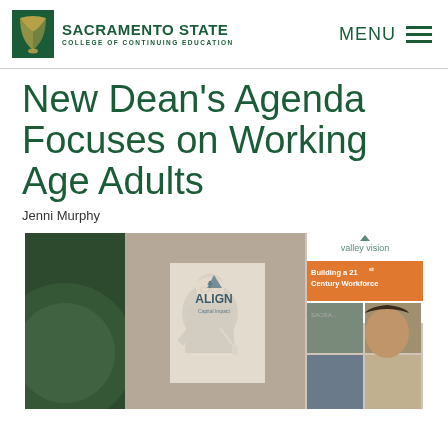SACRAMENTO STATE COLLEGE OF CONTINUING EDUCATION | MENU
New Dean’s Agenda Focuses on Working Age Adults
Jenni Murphy
[Figure (photo): A woman in a dark blazer speaking at a podium with a microphone, with 'ALIGN' banner and 'valley vision - Building a 21st Century Workforce' banner visible in the background]